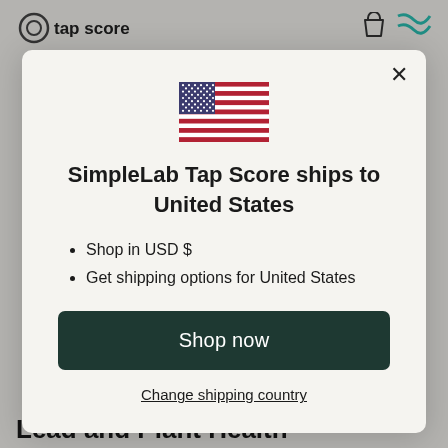tap score
[Figure (screenshot): Modal dialog on tap score website showing US flag, shipping information, shop now button, and change shipping country link]
SimpleLab Tap Score ships to United States
Shop in USD $
Get shipping options for United States
Shop now
Change shipping country
Eating lead-contaminated food
Lead and Plant Health